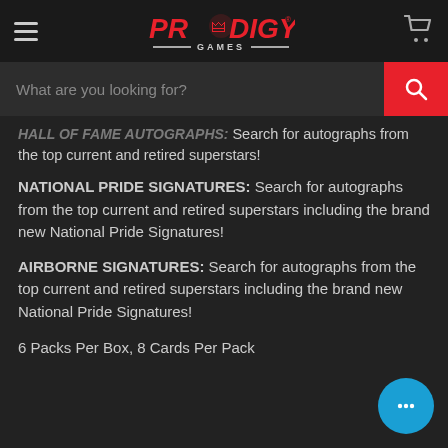Prodigy Games — navigation header with hamburger menu, logo, and cart icon
What are you looking for?
HALL OF FAME AUTOGRAPHS: Search for autographs from the top current and retired superstars!
NATIONAL PRIDE SIGNATURES: Search for autographs from the top current and retired superstars including the brand new National Pride Signatures!
AIRBORNE SIGNATURES: Search for autographs from the top current and retired superstars including the brand new National Pride Signatures!
6 Packs Per Box, 8 Cards Per Pack